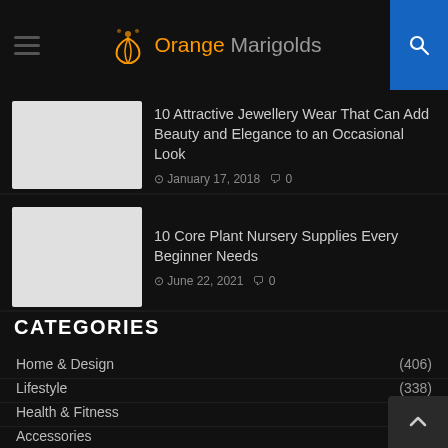Orange Marigolds
10 Attractive Jewellery Wear That Can Add Beauty and Elegance to an Occasional Look
January 17, 2018  0
10 Core Plant Nursery Supplies Every Beginner Needs
June 22, 2021  0
CATEGORIES
Home & Design (406)
Lifestyle (338)
Health & Fitness (10...)
Accessories (...)
Travel (81)